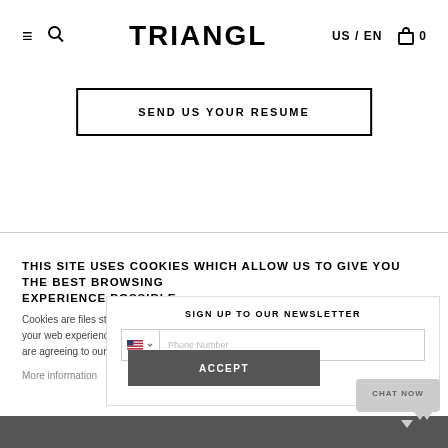≡ 🔍  TRIANGL  US / EN  🛍 0
SEND US YOUR RESUME
THIS SITE USES COOKIES WHICH ALLOW US TO GIVE YOU THE BEST BROWSING EXPERIENCE POSSIBLE
Cookies are files stored in your browser and are used by most websites to help personalize your web experience. By continuing to use our website without changing the settings, you are agreeing to our use of cookies. To find out more, please see our Privacy Policy.
SIGN UP TO OUR NEWSLETTER
More information
ACCEPT
CHAT NOW